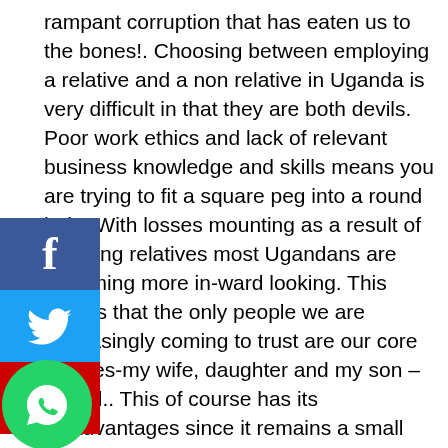rampant corruption that has eaten us to the bones!. Choosing between employing a relative and a non relative in Uganda is very difficult in that they are both devils. Poor work ethics and lack of relevant business knowledge and skills means you are trying to fit a square peg into a round hole. With losses mounting as a result of cheating relatives most Ugandans are becoming more in-ward looking. This means that the only people we are increasingly coming to trust are our core families-my wife, daughter and my son – period.. This of course has its disadvantages since it remains a small family business at least you are saved from the heartache of losing hard-earned funds to the cheats of un-appreciating members of the extended families. Another new development is that the new Uganda business man is moving away from employing relatives to professionals who are given targets as part of his
[Figure (other): Social media share buttons: Facebook (blue), Twitter (blue), YouTube (red) stacked vertically on left side, and WhatsApp green circle icon at bottom left]